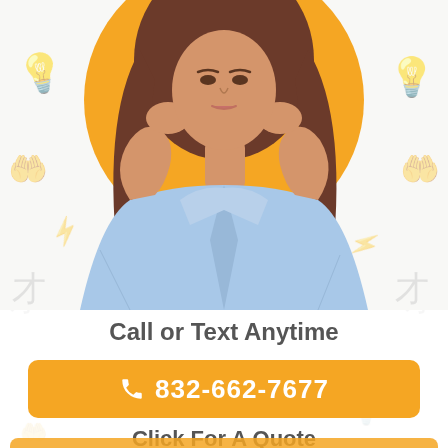[Figure (photo): Woman in light blue denim jacket with hands raised near face, shown from shoulders up against an orange circular background. Faint decorative icons (light bulbs, hands, arrows) visible in the background.]
Call or Text Anytime
832-662-7677
Click For A Quote